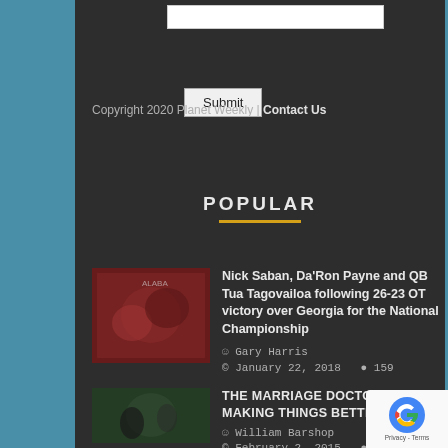[input field]
Submit
Copyright 2020 Planet Weekly | Contact Us
POPULAR
Nick Saban, Da'Ron Payne and QB Tua Tagovailoa following 26-23 OT victory over Georgia for the National Championship — Gary Harris — January 22, 2018 — 159
THE MARRIAGE DOCTOR // MAKING THINGS BETTER — William Barshop — February 2, 2015 — 141